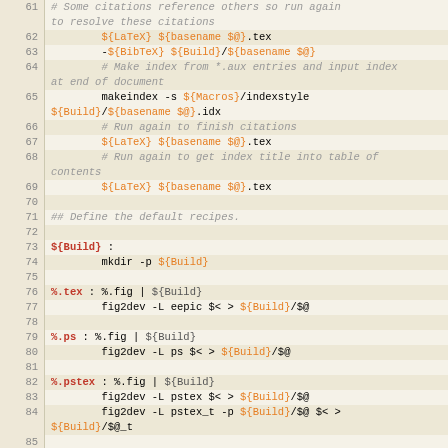[Figure (screenshot): Source code listing (Makefile) lines 61-88 with syntax highlighting. Line numbers shown in left gutter. Comments in italic gray, variables in orange, keywords/targets in red-bold, commands in green, plain text in dark gray.]